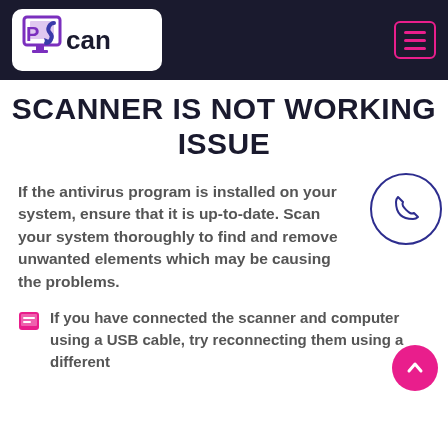PCan logo and navigation bar
SCANNER IS NOT WORKING ISSUE
If the antivirus program is installed on your system, ensure that it is up-to-date. Scan your system thoroughly to find and remove unwanted elements which may be causing the problems.
If you have connected the scanner and computer using a USB cable, try reconnecting them using a different